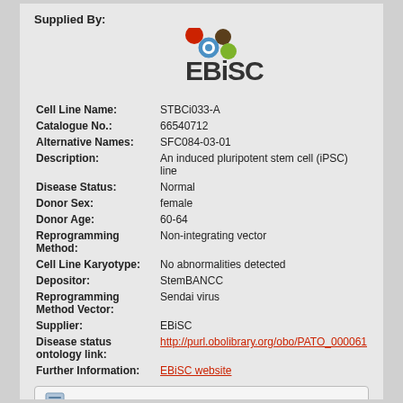Supplied By:
[Figure (logo): EBiSC logo with colored circles (red, blue, green, brown) above the text EBiSC]
| Cell Line Name: | STBCi033-A |
| Catalogue No.: | 66540712 |
| Alternative Names: | SFC084-03-01 |
| Description: | An induced pluripotent stem cell (iPSC) line |
| Disease Status: | Normal |
| Donor Sex: | female |
| Donor Age: | 60-64 |
| Reprogramming Method: | Non-integrating vector |
| Cell Line Karyotype: | No abnormalities detected |
| Depositor: | StemBANCC |
| Reprogramming Method Vector: | Sendai virus |
| Supplier: | EBiSC |
| Disease status ontology link: | http://purl.obolibrary.org/obo/PATO_000061 |
| Further Information: | EBiSC website |
Product Documents
66540712 cell line information pack